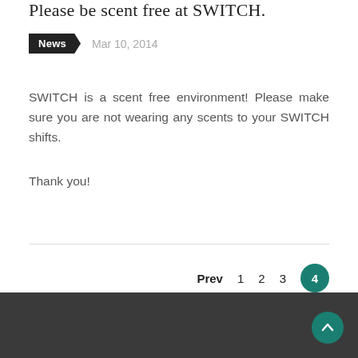Please be scent free at SWITCH.
News   Mar 10, 2014
SWITCH is a scent free environment!  Please make sure you are not wearing any scents to your SWITCH shifts.
Thank you!
Prev  1  2  3  4